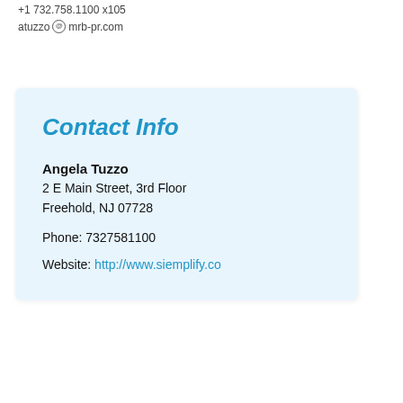+1 732.758.1100 x105
atuzzo @ mrb-pr.com
Contact Info
Angela Tuzzo
2 E Main Street, 3rd Floor
Freehold, NJ 07728
Phone: 7327581100
Website: http://www.siemplify.co